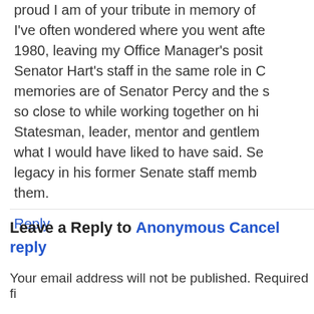proud I am of your tribute in memory of I've often wondered where you went after 1980, leaving my Office Manager's posit Senator Hart's staff in the same role in C memories are of Senator Percy and the s so close to while working together on hi Statesman, leader, mentor and gentlem what I would have liked to have said. Se legacy in his former Senate staff memb them.
Reply
Leave a Reply to Anonymous Cancel reply
Your email address will not be published. Required fi